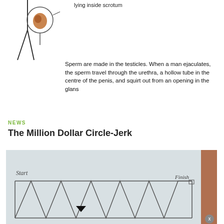[Figure (illustration): Anatomical diagram showing a cross-section of a testicle lying inside the scrotum with label 'lying inside scrotum', and a stick figure outline on the left.]
lying inside scrotum
Sperm are made in the testicles. When a man ejaculates, the sperm travel through the urethra, a hollow tube in the centre of the penis, and squirt out from an opening in the glans
NEWS
The Million Dollar Circle-Jerk
[Figure (photo): A photograph of a hand-drawn diagram on paper showing a zigzag/sawtooth path from 'Start' on the left to 'Finish' on the right, with a small black arrow/cursor visible near the bottom left of the drawing.]